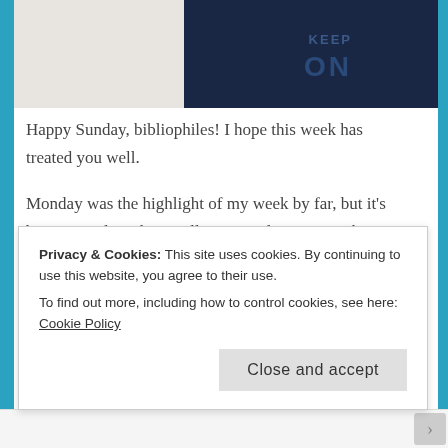[Figure (photo): Top portion of a blog page showing a partial image: light beige/cream color on the left half and dark navy blue on the right half with partial text visible]
Happy Sunday, bibliophiles! I hope this week has treated you well.
Monday was the highlight of my week by far, but it's been a good week overall. So Monday…I got a haircut in the afternoon, and that night, I got to see Spiritualized!! Without question, one of my favorite concerts that I've ever been to. At this point, I'm not even mad that they didn't play "Ladies And
Privacy & Cookies: This site uses cookies. By continuing to use this website, you agree to their use.
To find out more, including how to control cookies, see here: Cookie Policy
Close and accept